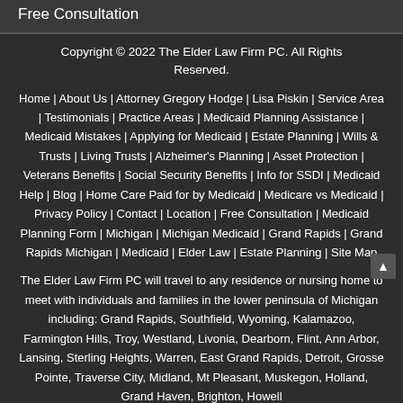Free Consultation
Copyright © 2022 The Elder Law Firm PC. All Rights Reserved.
Home | About Us | Attorney Gregory Hodge | Lisa Piskin | Service Area | Testimonials | Practice Areas | Medicaid Planning Assistance | Medicaid Mistakes | Applying for Medicaid | Estate Planning | Wills & Trusts | Living Trusts | Alzheimer's Planning | Asset Protection | Veterans Benefits | Social Security Benefits | Info for SSDI | Medicaid Help | Blog | Home Care Paid for by Medicaid | Medicare vs Medicaid | Privacy Policy | Contact | Location | Free Consultation | Medicaid Planning Form | Michigan | Michigan Medicaid | Grand Rapids | Grand Rapids Michigan | Medicaid | Elder Law | Estate Planning | Site Map
The Elder Law Firm PC will travel to any residence or nursing home to meet with individuals and families in the lower peninsula of Michigan including: Grand Rapids, Southfield, Wyoming, Kalamazoo, Farmington Hills, Troy, Westland, Livonia, Dearborn, Flint, Ann Arbor, Lansing, Sterling Heights, Warren, East Grand Rapids, Detroit, Grosse Pointe, Traverse City, Midland, Mt Pleasant, Muskegon, Holland, Grand Haven, Brighton, Howell